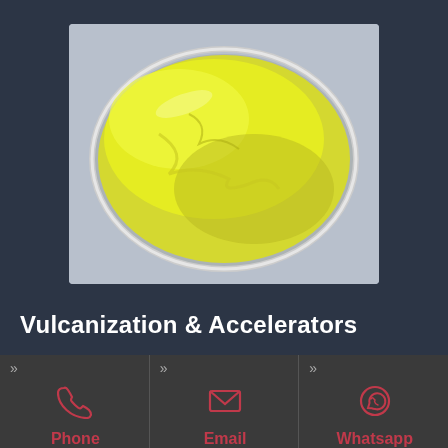[Figure (photo): A glass petri dish filled with bright yellow sulfur powder, photographed from above on a light gray/blue background.]
Vulcanization & Accelerators
Phone
Email
Whatsapp